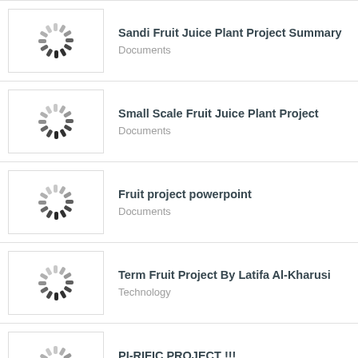Sandi Fruit Juice Plant Project Summary
Documents
Small Scale Fruit Juice Plant Project
Documents
Fruit project powerpoint
Documents
Term Fruit Project By Latifa Al-Kharusi
Technology
PI-RIFIC PROJECT !!!
Documents